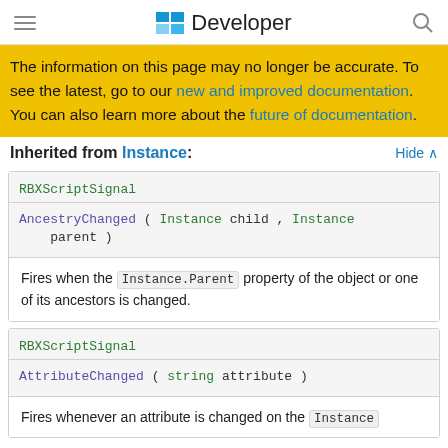Developer
The information on this page may no longer be accurate. To see the latest, go to our new and improved documentation. You can also learn more about the future of documentation.
Inherited from Instance:
RBXScriptSignal
AncestryChanged ( Instance child , Instance parent )
Fires when the Instance.Parent property of the object or one of its ancestors is changed.
RBXScriptSignal
AttributeChanged ( string attribute )
Fires whenever an attribute is changed on the Instance